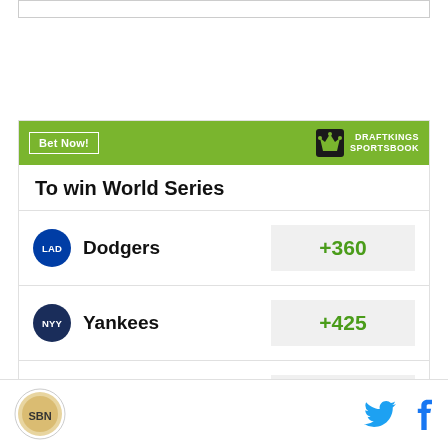[Figure (other): Top advertisement box placeholder]
| Team | Odds |
| --- | --- |
| Dodgers | +360 |
| Yankees | +425 |
| Astros | +450 |
SBNation logo | Twitter | Facebook